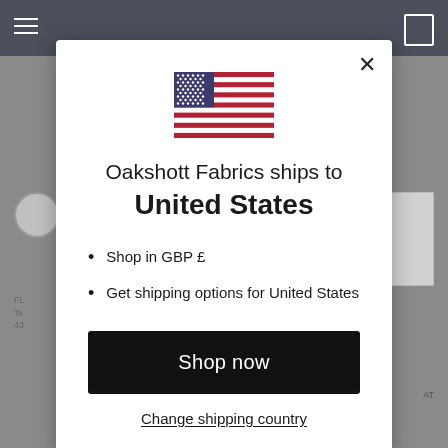[Figure (screenshot): Modal popup dialog on a fabric e-commerce website showing shipping destination]
[Figure (illustration): US flag emoji/illustration centered at top of modal]
Oakshott Fabrics ships to United States
Shop in GBP £
Get shipping options for United States
Shop now
Change shipping country